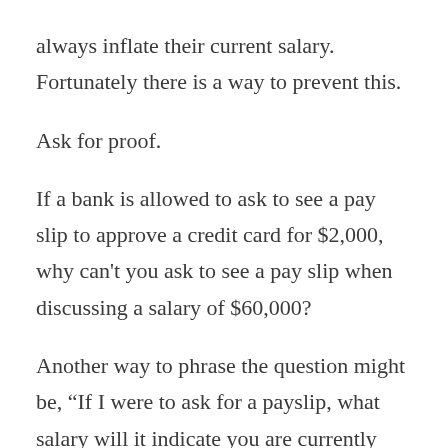always inflate their current salary. Fortunately there is a way to prevent this.
Ask for proof.
If a bank is allowed to ask to see a pay slip to approve a credit card for $2,000, why can't you ask to see a pay slip when discussing a salary of $60,000?
Another way to phrase the question might be, “If I were to ask for a payslip, what salary will it indicate you are currently on?”.
Whilst it might cause the candidate to become